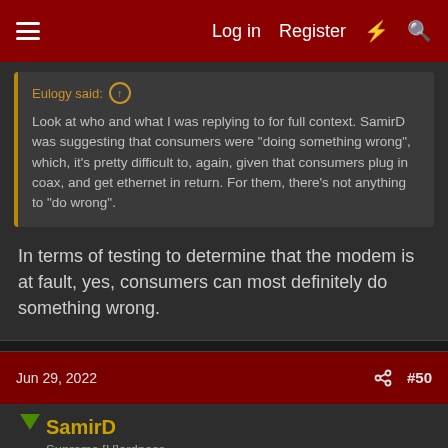Log in | Register
Eulogy said: Look at who and what I was replying to for full context. SamirD was suggesting that consumers were "doing something wrong", which, it's pretty difficult to, again, given that consumers plug in coax, and get ethernet in return. For them, there's not anything to "do wrong".
In terms of testing to determine that the modem is at fault, yes, consumers can most definitely do something wrong.
Jun 29, 2022  #50
SamirD
Supreme [H]ardness
Eulogy said: From the intel lawsuit (which I see you still haven't bothered to read on):